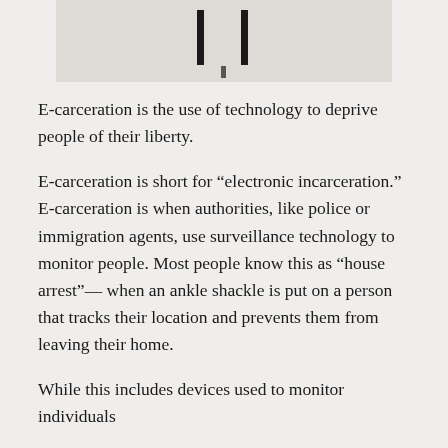[Figure (illustration): Partial cropped illustration showing two dark vertical bars against a light beige/gray background, likely depicting prison bars or a related visual metaphor for incarceration.]
E-carceration is the use of technology to deprive people of their liberty.
E-carceration is short for “electronic incarceration.” E-carceration is when authorities, like police or immigration agents, use surveillance technology to monitor people. Most people know this as “house arrest”— when an ankle shackle is put on a person that tracks their location and prevents them from leaving their home.
While this includes devices used to monitor individuals